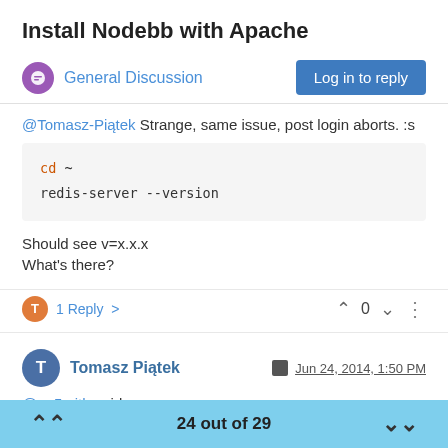Install Nodebb with Apache
General Discussion
@Tomasz-Piątek Strange, same issue, post login aborts. :s
cd ~
redis-server --version
Should see v=x.x.x
What's there?
1 Reply >  0
Tomasz Piątek  Jun 24, 2014, 1:50 PM
@a_5mith said:
24 out of 29